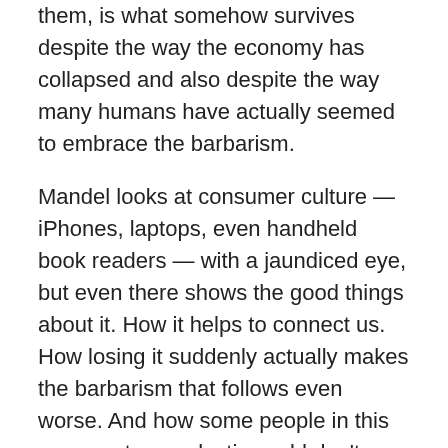them, is what somehow survives despite the way the economy has collapsed and also despite the way many humans have actually seemed to embrace the barbarism.
Mandel looks at consumer culture — iPhones, laptops, even handheld book readers — with a jaundiced eye, but even there shows the good things about it. How it helps to connect us. How losing it suddenly actually makes the barbarism that follows even worse. And how some people in this new, post-apocalyptic world don't even want their children to know just how far the human race has fallen — because they're afraid if they admit it, they'll have to deal with their own buried grief over what they have become.
All of this is told in a decidedly matter-of-fact way. This is just what life is, after the plague (a word Mandel doesn't use by the way). This is how they all have to survive.